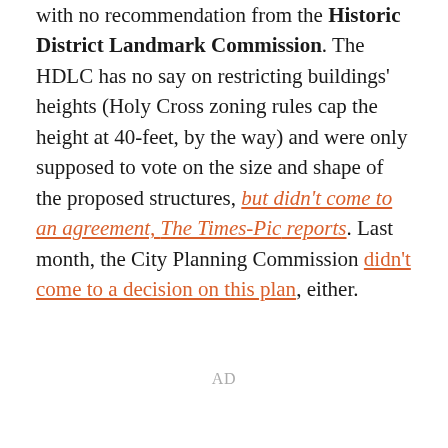with no recommendation from the Historic District Landmark Commission. The HDLC has no say on restricting buildings' heights (Holy Cross zoning rules cap the height at 40-feet, by the way) and were only supposed to vote on the size and shape of the proposed structures, but didn't come to an agreement, The Times-Pic reports. Last month, the City Planning Commission didn't come to a decision on this plan, either.
AD